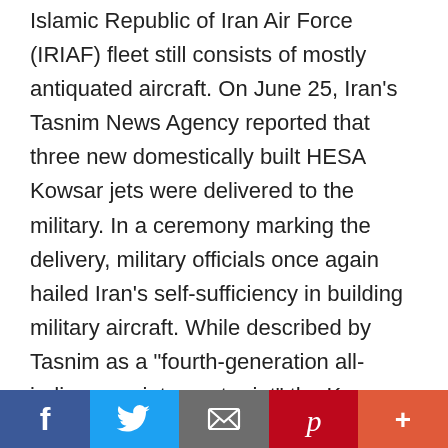Islamic Republic of Iran Air Force (IRIAF) fleet still consists of mostly antiquated aircraft. On June 25, Iran's Tasnim News Agency reported that three new domestically built HESA Kowsar jets were delivered to the military. In a ceremony marking the delivery, military officials once again hailed Iran's self-sufficiency in building military aircraft. While described by Tasnim as a "fourth-generation all-indigenous interceptor jet" the Kowsar appears to be a refurbished third-generation American-built F-5 fighter jet. Iran still possesses several of these jets that were purchased during the reign of the last Shah. The unveiling of the Kowsar in August 2018 was heavily scrutinised by analysts since the
[Figure (other): Social media share bar with Facebook, Twitter, email, Pinterest, and more buttons]